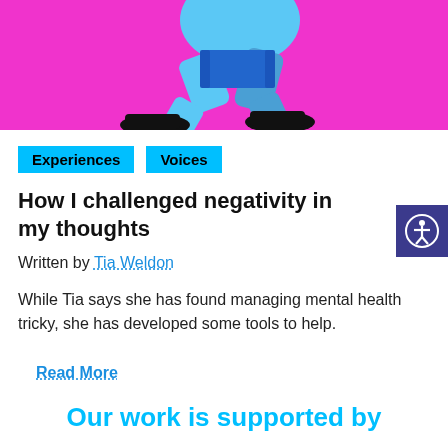[Figure (illustration): Cropped illustration of a running figure on a bright pink/magenta background, showing legs and lower body in blue athletic wear with black shoes]
Experiences
Voices
How I challenged negativity in my thoughts
Written by Tia Weldon
While Tia says she has found managing mental health tricky, she has developed some tools to help.
Read More
Our work is supported by